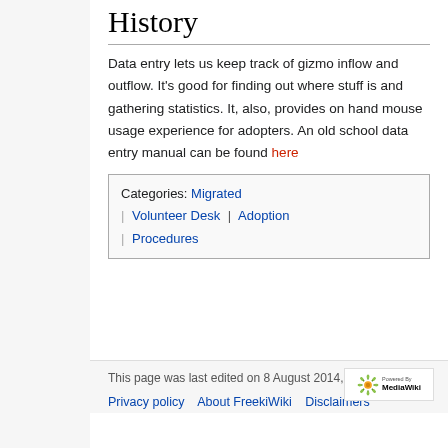History
Data entry lets us keep track of gizmo inflow and outflow. It's good for finding out where stuff is and gathering statistics. It, also, provides on hand mouse usage experience for adopters. An old school data entry manual can be found here
Categories: Migrated | Volunteer Desk | Adoption | Procedures
This page was last edited on 8 August 2014, at 17:16.
Privacy policy   About FreekiWiki   Disclaimers